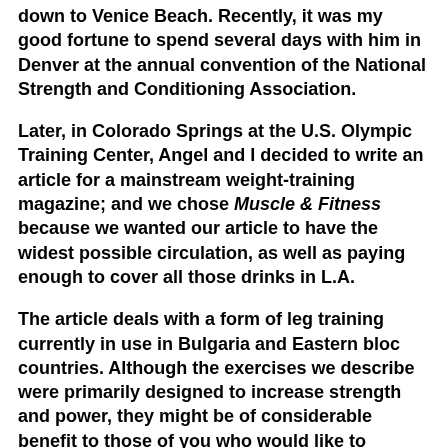down to Venice Beach. Recently, it was my good fortune to spend several days with him in Denver at the annual convention of the National Strength and Conditioning Association.
Later, in Colorado Springs at the U.S. Olympic Training Center, Angel and I decided to write an article for a mainstream weight-training magazine; and we chose Muscle & Fitness because we wanted our article to have the widest possible circulation, as well as paying enough to cover all those drinks in L.A.
The article deals with a form of leg training currently in use in Bulgaria and Eastern bloc countries. Although the exercises we describe were primarily designed to increase strength and power, they might be of considerable benefit to those of you who would like to increase the size, shape and definition of your thighs and hips.
Almost a decade ago, a retired Soviet hammer thrower